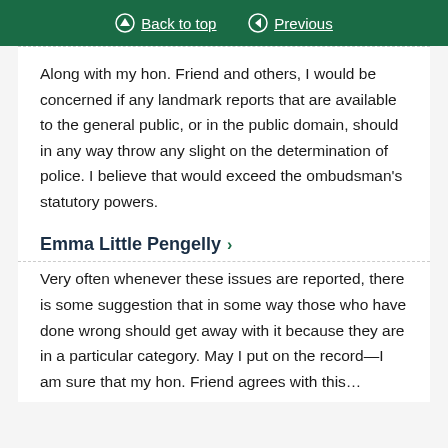Back to top | Previous
Along with my hon. Friend and others, I would be concerned if any landmark reports that are available to the general public, or in the public domain, should in any way throw any slight on the determination of police. I believe that would exceed the ombudsman's statutory powers.
Emma Little Pengelly >
Very often whenever these issues are reported, there is some suggestion that in some way those who have done wrong should get away with it because they are in a particular category. May I put on the record—I am sure that my hon. Friend agrees with this…